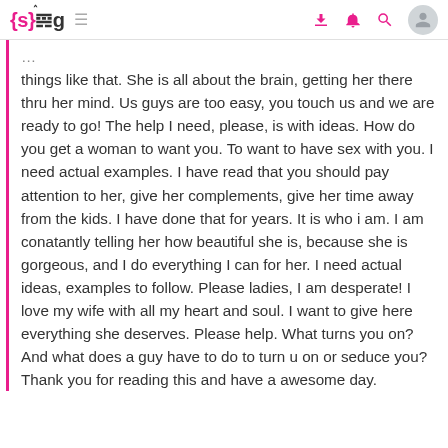{s}g ≡ [download icon] [bell icon] [search icon] [avatar]
things like that. She is all about the brain, getting her there thru her mind. Us guys are too easy, you touch us and we are ready to go! The help I need, please, is with ideas. How do you get a woman to want you. To want to have sex with you. I need actual examples. I have read that you should pay attention to her, give her complements, give her time away from the kids. I have done that for years. It is who i am. I am conatantly telling her how beautiful she is, because she is gorgeous, and I do everything I can for her. I need actual ideas, examples to follow. Please ladies, I am desperate! I love my wife with all my heart and soul. I want to give here everything she deserves. Please help. What turns you on? And what does a guy have to do to turn u on or seduce you? Thank you for reading this and have a awesome day.